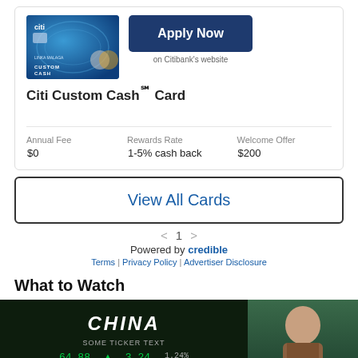[Figure (screenshot): Citi Custom Cash credit card image (blue card) with Apply Now button]
Citi Custom Cash℠ Card
| Annual Fee | Rewards Rate | Welcome Offer |
| --- | --- | --- |
| $0 | 1-5% cash back | $200 |
View All Cards
< 1 >
Powered by credible
Terms | Privacy Policy | Advertiser Disclosure
What to Watch
[Figure (screenshot): Video thumbnail showing CHINA financial ticker screen with green stock numbers and a man on the right side]